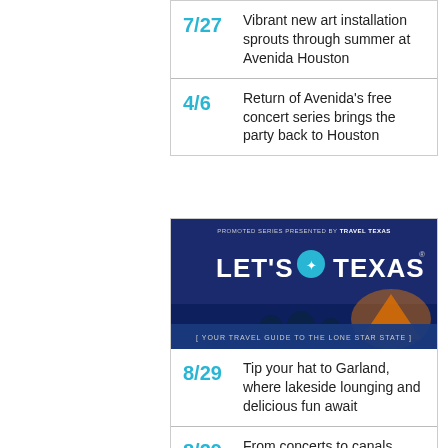7/27 Vibrant new art installation sprouts through summer at Avenida Houston
4/6 Return of Avenida's free concert series brings the party back to Houston
[Figure (illustration): Promoted series banner presented by Travel Texas. Shows LET'S TEXAS logo with Texas star, people camping by water at sunset. Tagline: YOUR TRAVEL GUIDE TO THE LONE STAR STATE]
8/29 Tip your hat to Garland, where lakeside lounging and delicious fun await
8/29 From concerts to canals, Irving offers one-of-a-kind ways to